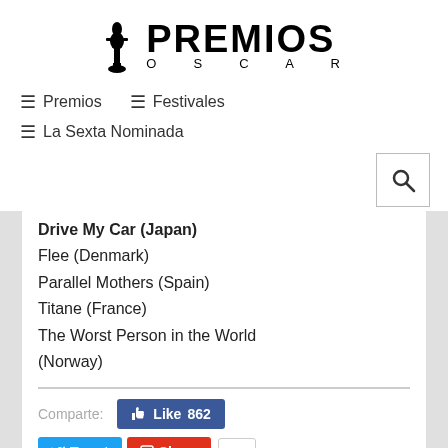[Figure (logo): Premios Oscar logo with Oscar statuette silhouette and stylized text]
≡ Premios   ≡ Festivales
≡ La Sexta Nominada
Drive My Car (Japan)
Flee (Denmark)
Parallel Mothers (Spain)
Titane (France)
The Worst Person in the World (Norway)
Comparte:
Like 862
Tweet  Share  3